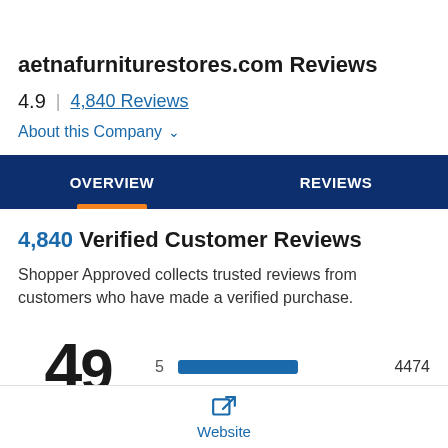aetnafurniturestores.com Reviews
4.9   4,840 Reviews
About this Company
OVERVIEW
REVIEWS
4,840 Verified Customer Reviews
Shopper Approved collects trusted reviews from customers who have made a verified purchase.
4.9   5   4474
Website